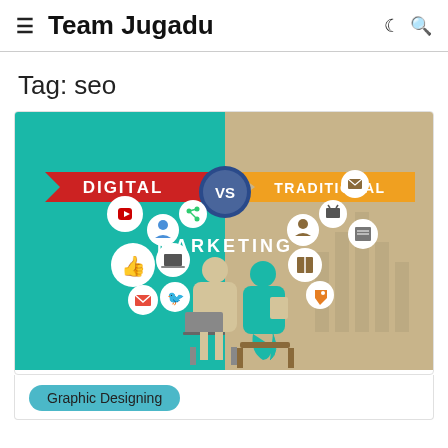≡  Team Jugadu
Tag: seo
[Figure (infographic): Digital vs Traditional Marketing infographic. Left half teal background showing a person at a laptop with digital social media icons (YouTube, Google+, Share, Like, Laptop, Email, Twitter). Right half tan/beige background showing a person reading with traditional media icons (Person, TV, Book, Newspaper, Tags). Center circle says 'VS' in blue. Banner text: 'DIGITAL' on red ribbon left, 'TRADITIONAL' on orange ribbon right, 'MARKETING' in white text center.]
Graphic Designing